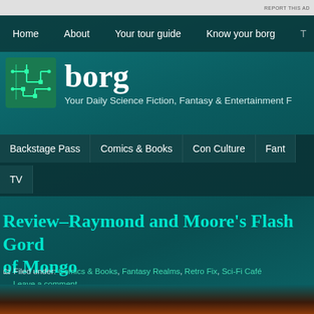REPORT THIS AD
Home   About   Your tour guide   Know your borg   T...
[Figure (logo): Borg website logo with green circuit board icon and text 'borg — Your Daily Science Fiction, Fantasy & Entertainment R...']
Backstage Pass   Comics & Books   Con Culture   Fant...   TV
Review–Raymond and Moore's Flash Gord... of Mongo
Filed under: Comics & Books, Fantasy Realms, Retro Fix, Sci-Fi Café — Leave a comment